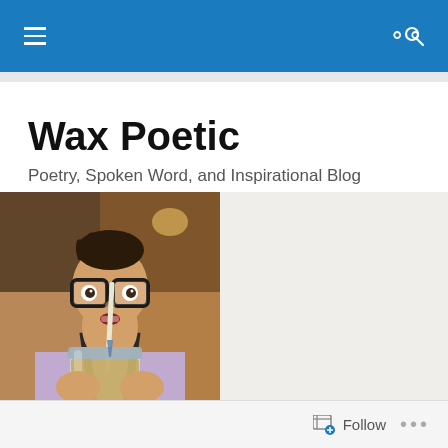Wax Poetic – navigation bar with menu and search icons
Wax Poetic
Poetry, Spoken Word, and Inspirational Blog
[Figure (photo): A man with large black-framed glasses wearing a light purple shirt and dark suspenders, sipping from a mason jar with a straw, making a wide-eyed expression. The background appears to be a dimly lit restaurant or café.]
Forgiveness
Follow  •••